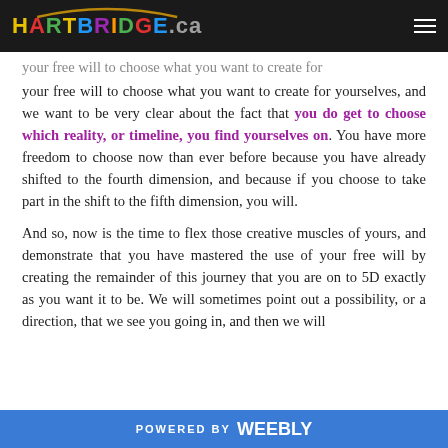HARTBRIDGE.ca
your free will to choose what you want to create for yourselves, and we want to be very clear about the fact that you do get to choose which reality, or timeline, you find yourselves on. You have more freedom to choose now than ever before because you have already shifted to the fourth dimension, and because if you choose to take part in the shift to the fifth dimension, you will.
And so, now is the time to flex those creative muscles of yours, and demonstrate that you have mastered the use of your free will by creating the remainder of this journey that you are on to 5D exactly as you want it to be. We will sometimes point out a possibility, or a direction, that we see you going in, and then we will
POWERED BY weebly